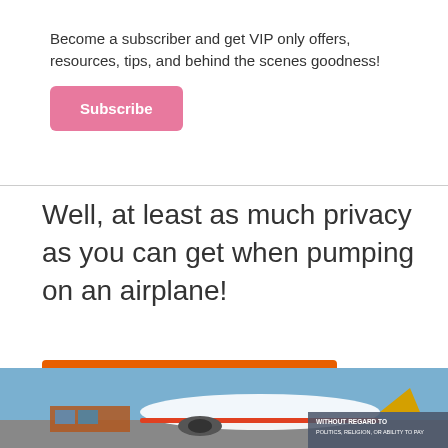Become a subscriber and get VIP only offers, resources, tips, and behind the scenes goodness!
Subscribe
Well, at least as much privacy as you can get when pumping on an airplane!
[Figure (infographic): Direct Relief orange advertisement banner: Help send medical aid to Ukraine >>]
[Figure (photo): Photo of an airplane on tarmac being loaded with cargo, with text overlay reading WITHOUT REGARD TO POLITICS, RELIGION, OR ABILITY TO PAY]